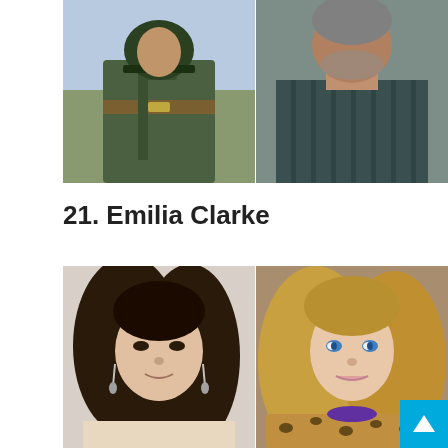[Figure (photo): Top-left photo: person in military green uniform with belt and gear]
[Figure (photo): Top-right photo: older man in dark striped shirt, close-up portrait]
21. Emilia Clarke
[Figure (photo): Bottom-left photo: young woman with long dark hair and drop earrings looking serious]
[Figure (photo): Bottom-right photo: woman with blonde wavy hair in leopard print jacket looking up]